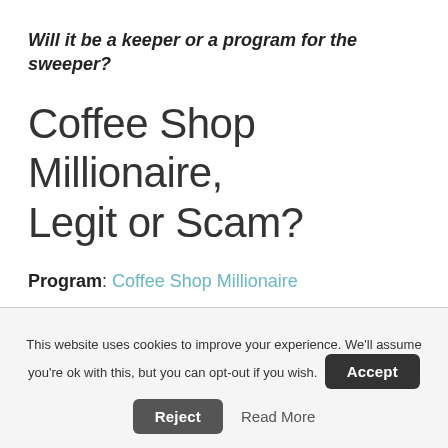Will it be a keeper or a program for the sweeper?
Coffee Shop Millionaire, Legit or Scam?
Program: Coffee Shop Millionaire
Created by: Anthony Trister
This website uses cookies to improve your experience. We'll assume you're ok with this, but you can opt-out if you wish.